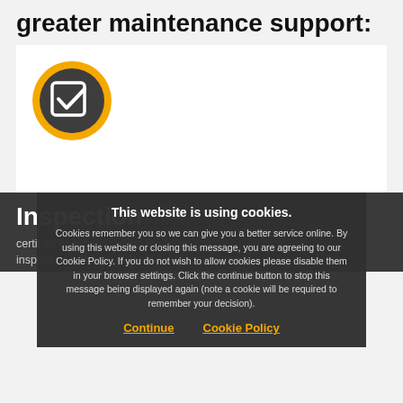greater maintenance support:
[Figure (illustration): White card area with a dark circular icon featuring an orange ring border and a white checkbox/checkmark symbol inside a dark grey circle]
Inspection
certified engineers* using the latest Cat inspection technology. We'll also recommend
This website is using cookies. Cookies remember you so we can give you a better service online. By using this website or closing this message, you are agreeing to our Cookie Policy. If you do not wish to allow cookies please disable them in your browser settings. Click the continue button to stop this message being displayed again (note a cookie will be required to remember your decision). Continue  Cookie Policy